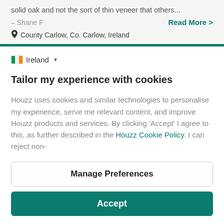solid oak and not the sort of thin veneer that others...
– Shane F
Read More >
County Carlow, Co. Carlow, Ireland
Ireland
Tailor my experience with cookies
Houzz uses cookies and similar technologies to personalise my experience, serve me relevant content, and improve Houzz products and services. By clicking 'Accept' I agree to this, as further described in the Houzz Cookie Policy. I can reject non-
Manage Preferences
Accept